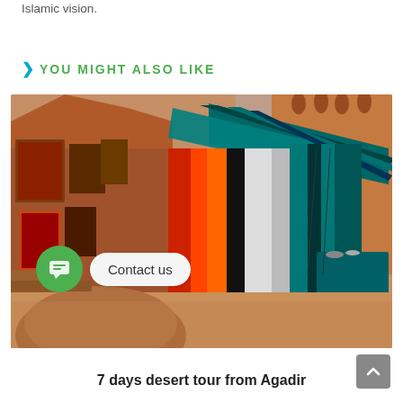Islamic vision.
YOU MIGHT ALSO LIKE
[Figure (photo): A Moroccan market scene with colorful teal/turquoise fabric draped over a mud-brick building facade. Red, orange, and white striped textiles hang in the middle, and a display table with jewelry and crafts sits in front. A large sandstone rock is in the foreground left.]
7 days desert tour from Agadir